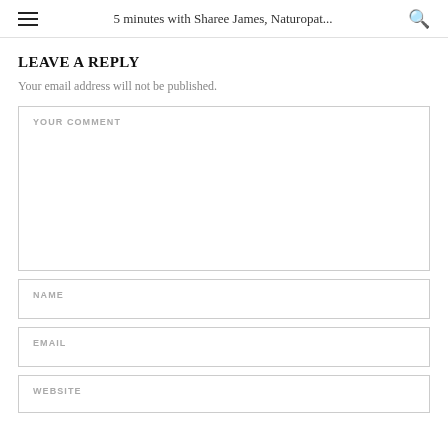5 minutes with Sharee James, Naturopat...
LEAVE A REPLY
Your email address will not be published.
YOUR COMMENT
NAME
EMAIL
WEBSITE